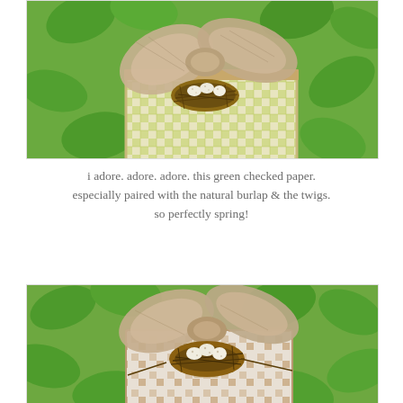[Figure (photo): A gift wrapped with green and white checked paper, topped with a large natural burlap bow and a small twig bird's nest containing three speckled eggs, set against green ivy leaves.]
i adore. adore. adore. this green checked paper. especially paired with the natural burlap & the twigs. so perfectly spring!
[Figure (photo): A gift wrapped with brown and white geometric patterned paper, topped with a large natural burlap bow and a twig bird's nest with speckled eggs, set against green ivy leaves.]